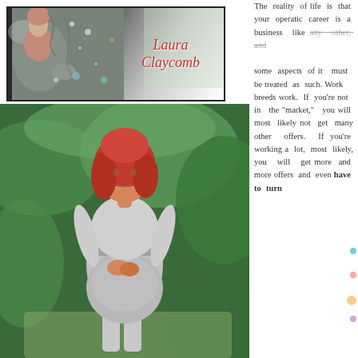[Figure (photo): Laura Claycomb banner/logo with decorative abstract art, woman in red dress, cursive name text in red 'Laura Claycomb']
[Figure (photo): Photograph of a red-haired woman wearing a grey sweater and grey floral skirt, standing outdoors in a green garden setting]
The reality of life is that your operatic career is a business like any other, and some aspects of it must be treated as such. Work breeds work. If you’re not in the “market,” you will most likely not get many other offers. If you’re working a lot, most likely, you will get more and more offers and even have to turn